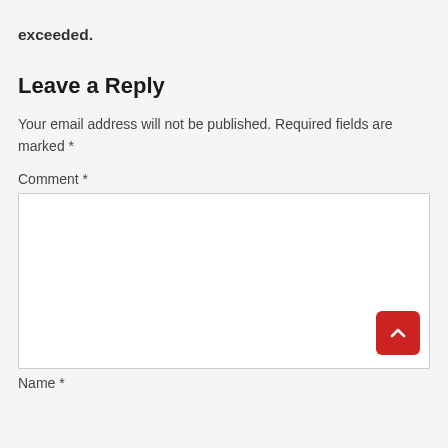exceeded.
Leave a Reply
Your email address will not be published. Required fields are marked *
Comment *
Name *